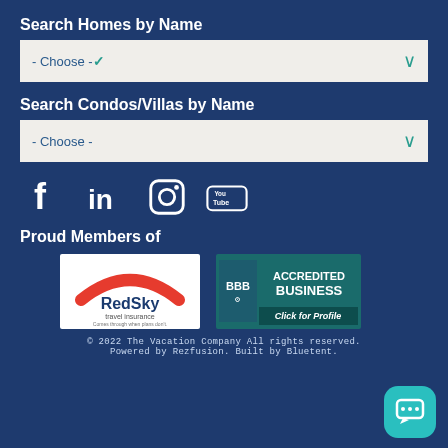Search Homes by Name
- Choose -
Search Condos/Villas by Name
- Choose -
[Figure (infographic): Social media icons: Facebook, LinkedIn, Instagram, YouTube]
Proud Members of
[Figure (logo): RedSky travel insurance logo - Comes through when plans don't.]
[Figure (logo): BBB Accredited Business - Click for Profile]
© 2022 The Vacation Company All rights reserved. Powered by Rezfusion. Built by Bluetent.